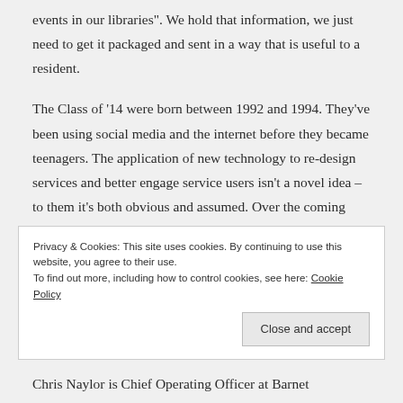events in our libraries". We hold that information, we just need to get it packaged and sent in a way that is useful to a resident.
The Class of '14 were born between 1992 and 1994. They've been using social media and the internet before they became teenagers. The application of new technology to re-design services and better engage service users isn't a novel idea – to them it's both obvious and assumed. Over the coming years we should expect them to adopt the best levels of personal engagement from the most customer orientated parts of
Privacy & Cookies: This site uses cookies. By continuing to use this website, you agree to their use.
To find out more, including how to control cookies, see here: Cookie Policy
Close and accept
Chris Naylor is Chief Operating Officer at Barnet